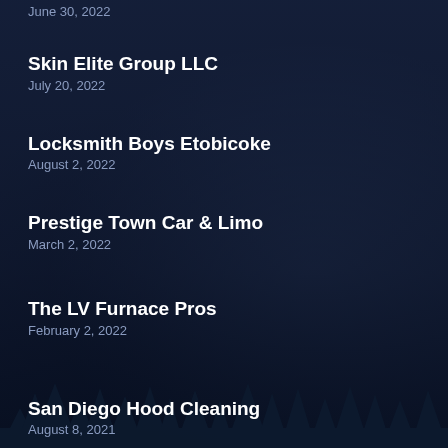June 30, 2022
Skin Elite Group LLC
July 20, 2022
Locksmith Boys Etobicoke
August 2, 2022
Prestige Town Car & Limo
March 2, 2022
The LV Furnace Pros
February 2, 2022
San Diego Hood Cleaning
August 8, 2021